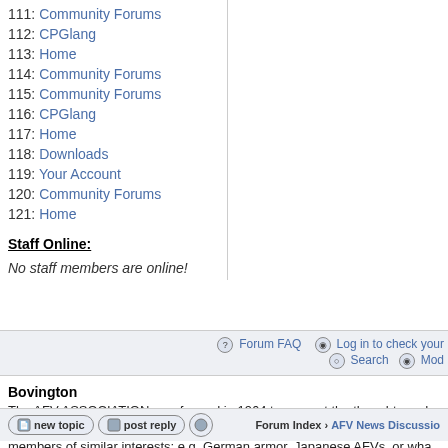111: Community Forums
112: CPGlang
113: Home
114: Community Forums
115: Community Forums
116: CPGlang
117: Home
118: Downloads
119: Your Account
120: Community Forums
121: Home
Staff Online:
No staff members are online!
Forum FAQ  Log in to check your  Search  Mod
Bovington
The AFV ASSOCIATION was formed in 1964 to support the thoughts and and related topics, such as AFV drawings. The emphasis has always bee members of similar interests; e.g. German armor, Japanese AFVs, or wha
Forum Index › AFV News Discussio